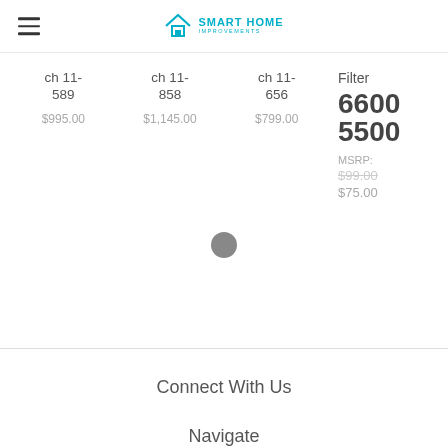Smart Home Improvements
ch 11-589  $995.00
ch 11-858  $1,145.00
ch 11-656  $799.00
Filter 6600 5500  MSRP: $99.00  $75.00
Connect With Us
Navigate